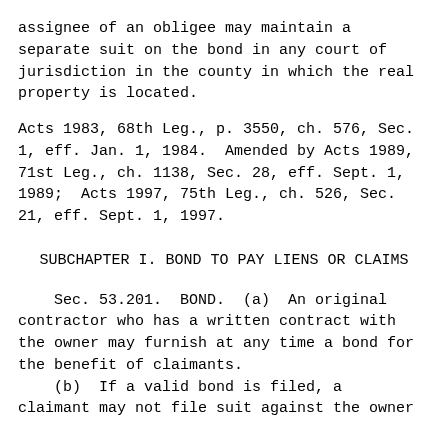assignee of an obligee may maintain a separate suit on the bond in any court of jurisdiction in the county in which the real property is located.
Acts 1983, 68th Leg., p. 3550, ch. 576, Sec. 1, eff. Jan. 1, 1984.  Amended by Acts 1989, 71st Leg., ch. 1138, Sec. 28, eff. Sept. 1, 1989;  Acts 1997, 75th Leg., ch. 526, Sec. 21, eff. Sept. 1, 1997.
SUBCHAPTER I. BOND TO PAY LIENS OR CLAIMS
Sec. 53.201.  BOND.  (a)  An original contractor who has a written contract with the owner may furnish at any time a bond for the benefit of claimants.
(b)  If a valid bond is filed, a claimant may not file suit against the owner